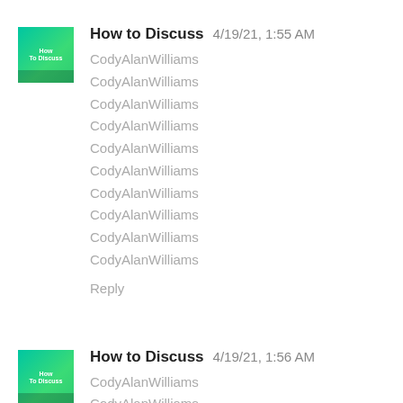How to Discuss  4/19/21, 1:55 AM
CodyAlanWilliams
CodyAlanWilliams
CodyAlanWilliams
CodyAlanWilliams
CodyAlanWilliams
CodyAlanWilliams
CodyAlanWilliams
CodyAlanWilliams
CodyAlanWilliams
CodyAlanWilliams
Reply
How to Discuss  4/19/21, 1:56 AM
CodyAlanWilliams
CodyAlanWilliams
CodyAlanWilliams
CodyAlanWilliams